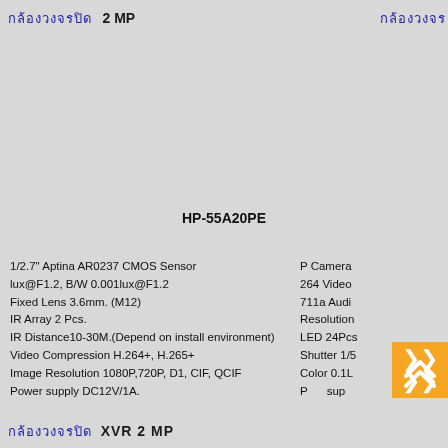กล้องวงจรปิด 2 MP
กล้องวงจรปิด
HP-55A20PE
1/2.7" Aptina AR0237 CMOS Sensor
lux@F1.2, B/W 0.001lux@F1.2
Fixed Lens 3.6mm. (M12)
IR Array 2 Pcs.
IR Distance10-30M.(Depend on install environment)
Video Compression H.264+, H.265+
Image Resolution 1080P,720P, D1, CIF, QCIF
Power supply DC12V/1A.
P Camera
264 Video
711a Audio
Resolution
LED 24Pcs
Shutter 1/5
Color 0.1L
Power sup
กล้องวงจรปิด XVR 2 MP